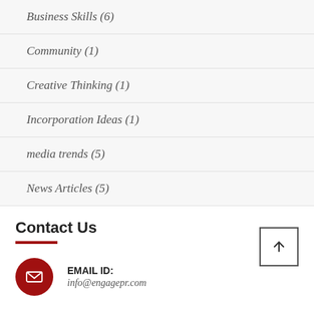Business Skills (6)
Community (1)
Creative Thinking (1)
Incorporation Ideas (1)
media trends (5)
News Articles (5)
Contact Us
EMAIL ID:
info@engagepr.com